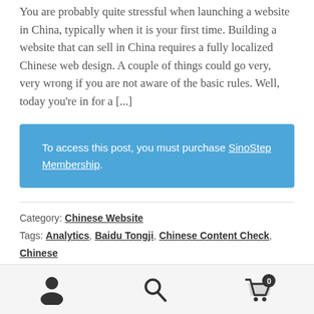You are probably quite stressful when launching a website in China, typically when it is your first time. Building a website that can sell in China requires a fully localized Chinese web design. A couple of things could go very, very wrong if you are not aware of the basic rules. Well, today you're in for a [...]
To access this post, you must purchase SinoStep Membership.
Category: Chinese Website
Tags: Analytics, Baidu Tongji, Chinese Content Check, Chinese